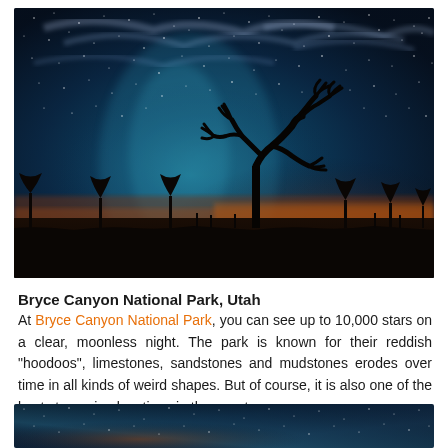[Figure (photo): Night sky photo with Milky Way and stars visible over silhouetted desert trees (Joshua trees) and flat desert landscape. Sky shows teal/blue Milky Way core with wispy clouds and warm orange glow at the horizon.]
Bryce Canyon National Park, Utah
At Bryce Canyon National Park, you can see up to 10,000 stars on a clear, moonless night. The park is known for their reddish “hoodoos”, limestones, sandstones and mudstones erodes over time in all kinds of weird shapes. But of course, it is also one of the best stargazing locations in the country.
[Figure (photo): Night sky photo showing the Milky Way galaxy band across a dark starry sky, with teal and orange hues visible.]